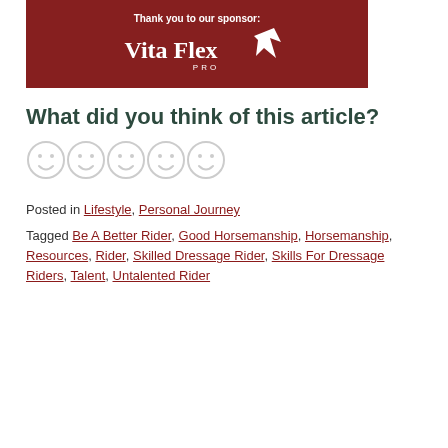[Figure (logo): Vita Flex PRO sponsor banner with dark red background, white text saying 'Thank you to our sponsor:' and Vita Flex PRO logo with horse head graphic]
What did you think of this article?
[Figure (infographic): Five smiley face emoji icons in a row (rating scale)]
Posted in Lifestyle, Personal Journey
Tagged Be A Better Rider, Good Horsemanship, Horsemanship, Resources, Rider, Skilled Dressage Rider, Skills For Dressage Riders, Talent, Untalented Rider